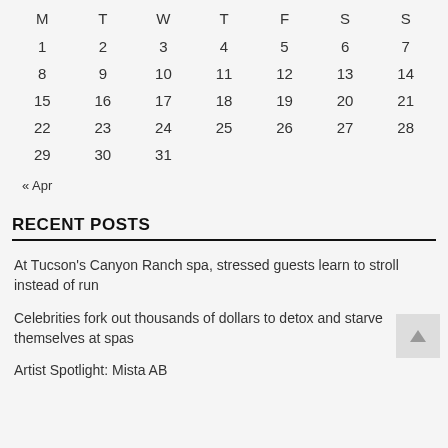| M | T | W | T | F | S | S |
| --- | --- | --- | --- | --- | --- | --- |
| 1 | 2 | 3 | 4 | 5 | 6 | 7 |
| 8 | 9 | 10 | 11 | 12 | 13 | 14 |
| 15 | 16 | 17 | 18 | 19 | 20 | 21 |
| 22 | 23 | 24 | 25 | 26 | 27 | 28 |
| 29 | 30 | 31 |  |  |  |  |
« Apr
RECENT POSTS
At Tucson's Canyon Ranch spa, stressed guests learn to stroll instead of run
Celebrities fork out thousands of dollars to detox and starve themselves at spas
Artist Spotlight: Mista AB